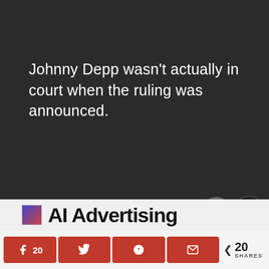Johnny Depp wasn't actually in court when the ruling was announced.
[Figure (screenshot): Bottom overlay showing AI Advertising banner with close button and dark mode toggle]
[Figure (infographic): Social share bar with Facebook (20), Twitter, Reddit, Email buttons in red, and total 20 SHARES count]